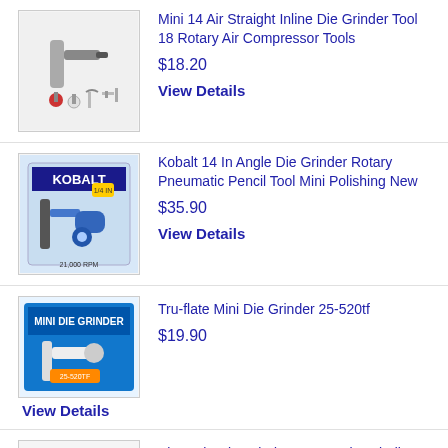[Figure (photo): Mini air straight inline die grinder tool with accessories (bits, wrench)]
Mini 14 Air Straight Inline Die Grinder Tool 18 Rotary Air Compressor Tools
$18.20
View Details
[Figure (photo): Kobalt 14 In Angle Die Grinder in retail packaging]
Kobalt 14 In Angle Die Grinder Rotary Pneumatic Pencil Tool Mini Polishing New
$35.90
View Details
[Figure (photo): Tru-flate Mini Die Grinder 25-520tf in blue retail box]
Tru-flate Mini Die Grinder 25-520tf
$19.90
View Details
[Figure (photo): Air Angle Die Grinder with colorful T-handle bits]
Air Angle Die Grinder Pneumatic Grinding Polishing Cutter Mini